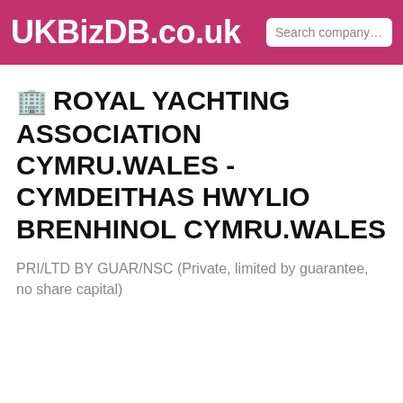UKBizDB.co.uk
🏢 ROYAL YACHTING ASSOCIATION CYMRU.WALES - CYMDEITHAS HWYLIO BRENHINOL CYMRU.WALES
PRI/LTD BY GUAR/NSC (Private, limited by guarantee, no share capital)